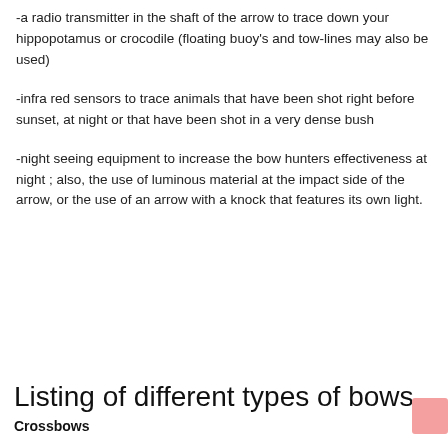-a radio transmitter in the shaft of the arrow to trace down your hippopotamus or crocodile (floating buoy's and tow-lines may also be used)
-infra red sensors to trace animals that have been shot right before sunset, at night or that have been shot in a very dense bush
-night seeing equipment to increase the bow hunters effectiveness at night ; also, the use of luminous material at the impact side of the arrow, or the use of an arrow with a knock that features its own light.
Listing of different types of bows
Crossbows